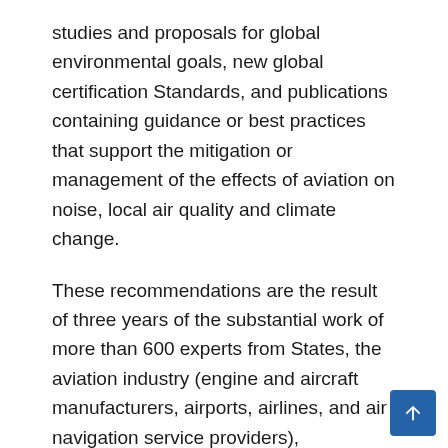studies and proposals for global environmental goals, new global certification Standards, and publications containing guidance or best practices that support the mitigation or management of the effects of aviation on noise, local air quality and climate change.
These recommendations are the result of three years of the substantial work of more than 600 experts from States, the aviation industry (engine and aircraft manufacturers, airports, airlines, and air navigation service providers), environmental NGOs, and UN Organizations. Increasingly, we have included experts from outside aviation and academia as we expand to innovative areas that require expertise fields as diverse as agriculture practices, fuel production, and life cycle analysis. With the pace of emerging and